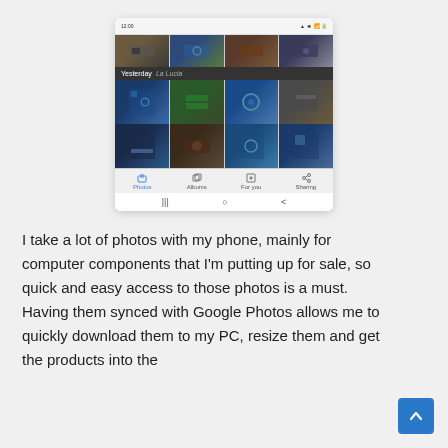[Figure (screenshot): Screenshot of Google Photos app on Android showing a grid of computer component photos (GPUs, motherboards, RAM). The grid is labeled 'Yesterday La Lucia'. Bottom navigation bar shows Photos, Albums, For you, Sharing tabs. Android navigation buttons at bottom.]
I take a lot of photos with my phone, mainly for computer components that I'm putting up for sale, so quick and easy access to those photos is a must. Having them synced with Google Photos allows me to quickly download them to my PC, resize them and get the products into the